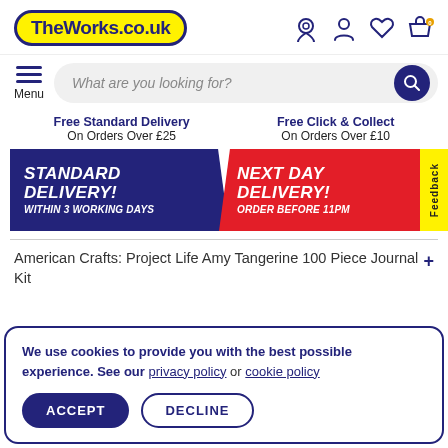TheWorks.co.uk
What are you looking for?
Menu
Free Standard Delivery
On Orders Over £25
Free Click & Collect
On Orders Over £10
[Figure (infographic): Blue banner: STANDARD DELIVERY! WITHIN 3 WORKING DAYS | Red banner: NEXT DAY DELIVERY! ORDER BEFORE 11PM. Yellow Feedback tab on right.]
American Crafts: Project Life Amy Tangerine 100 Piece Journal Kit
We use cookies to provide you with the best possible experience. See our privacy policy or cookie policy
ACCEPT   DECLINE